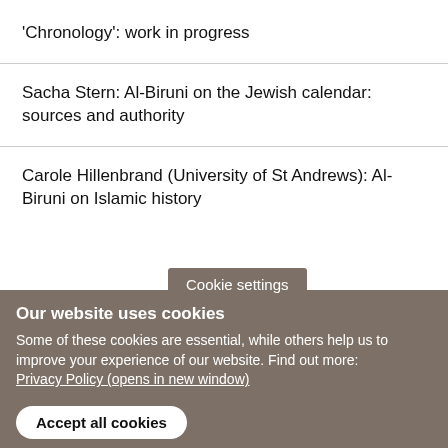'Chronology': work in progress
Sacha Stern: Al-Biruni on the Jewish calendar: sources and authority
Carole Hillenbrand (University of St Andrews): Al-Biruni on Islamic history
Cookie settings
Our website uses cookies
Some of these cookies are essential, while others help us to improve your experience of our website. Find out more: Privacy Policy (opens in new window)
Accept all cookies
Manage cookies